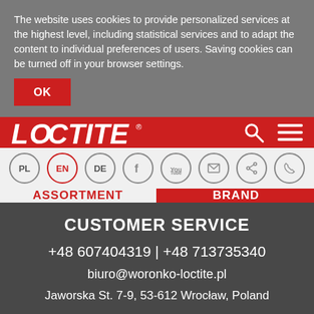The website uses cookies to provide personalized services at the highest level, including statistical services and to adapt the content to individual preferences of users. Saving cookies can be turned off in your browser settings.
OK
[Figure (logo): LOCTITE brand logo in white italic text on red background, with search and menu icons]
[Figure (infographic): Language and social media icon bar: PL, EN (active/selected in red circle), DE, Facebook, YouTube, email, share, phone icons]
ASSORTMENT
BRAND
CUSTOMER SERVICE
+48 607404319 | +48 713735340
biuro@woronko-loctite.pl
Jaworska St. 7-9, 53-612 Wrocław, Poland